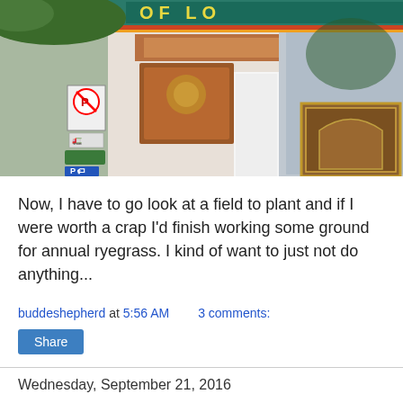[Figure (photo): Street-level photo of an ornate building facade with decorative tile work and signage reading 'OF LO...' (partially cropped). A no-parking sign and other street signs are visible on the left side.]
Now, I have to go look at a field to plant and if I were worth a crap I'd finish working some ground for annual ryegrass. I kind of want to just not do anything...
buddeshepherd at 5:56 AM    3 comments:
Share
Wednesday, September 21, 2016